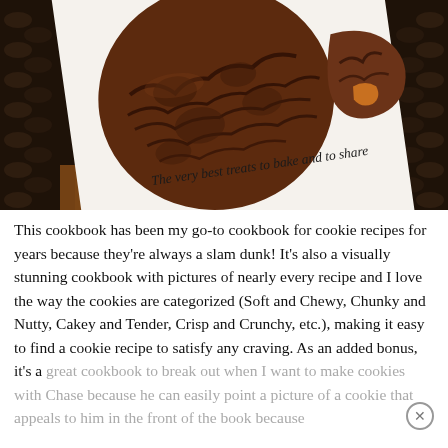[Figure (photo): A photograph of a cookbook cover showing a large dark chocolate crinkle cookie and a smaller broken cookie, with text on the cover reading 'The very best treats to bake and to share'. The book is resting in a dark woven basket.]
This cookbook has been my go-to cookbook for cookie recipes for years because they're always a slam dunk! It's also a visually stunning cookbook with pictures of nearly every recipe and I love the way the cookies are categorized (Soft and Chewy, Chunky and Nutty, Cakey and Tender, Crisp and Crunchy, etc.), making it easy to find a cookie recipe to satisfy any craving. As an added bonus, it's a great cookbook to break out when I want to make cookies with Chase because he can easily point a picture of a cookie that appeals to him in the front of the book because